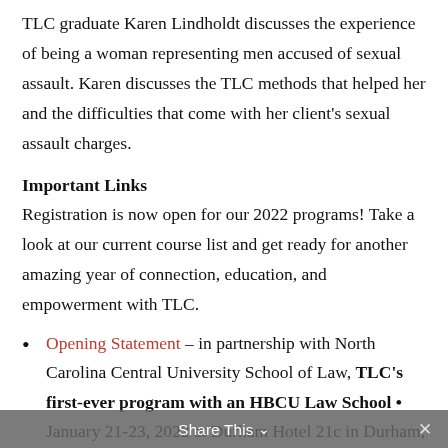TLC graduate Karen Lindholdt discusses the experience of being a woman representing men accused of sexual assault. Karen discusses the TLC methods that helped her and the difficulties that come with her client's sexual assault charges.
Important Links
Registration is now open for our 2022 programs! Take a look at our current course list and get ready for another amazing year of connection, education, and empowerment with TLC.
Opening Statement – in partnership with North Carolina Central University School of Law, TLC's first-ever program with an HBCU Law School • January 21-23, 2022 at Durham Hotel 21c in Durham, NC
Final Argument • January 21-23, 2022 at Mo